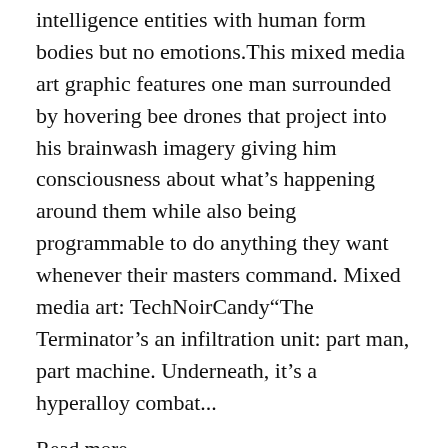intelligence entities with human form bodies but no emotions.This mixed media art graphic features one man surrounded by hovering bee drones that project into his brainwash imagery giving him consciousness about what's happening around them while also being programmable to do anything they want whenever their masters command. Mixed media art: TechNoirCandy"The Terminator's an infiltration unit: part man, part machine. Underneath, it's a hyperalloy combat...
Read more →
Black Friday & Cyber Week Sale